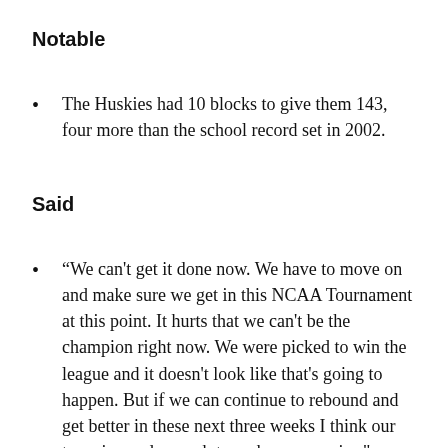Notable
The Huskies had 10 blocks to give them 143, four more than the school record set in 2002.
Said
“We can’t get it done now. We have to move on and make sure we get in this NCAA Tournament at this point. It hurts that we can’t be the champion right now. We were picked to win the league and it doesn’t look like that’s going to happen. But if we can continue to rebound and get better in these next three weeks I think our team is good enough to make some noise.” – UW Lorenzo Romar, after the 87-86 loss to Arizona denied their conference title hopes.
“We’ve bounced back from how we were two weeks ago